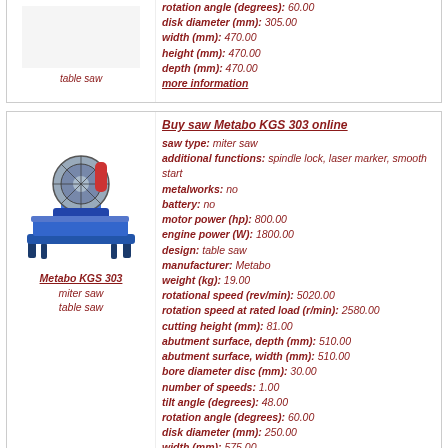rotation angle (degrees): 60.00 | disk diameter (mm): 305.00 | width (mm): 470.00 | height (mm): 470.00 | depth (mm): 470.00 | more information
[Figure (photo): Metabo KGS 303 miter saw / table saw product image]
Metabo KGS 303 | miter saw | table saw
Buy saw Metabo KGS 303 online | saw type: miter saw | additional functions: spindle lock, laser marker, smooth start | metalworks: no | battery: no | motor power (hp): 800.00 | engine power (W): 1800.00 | design: table saw | manufacturer: Metabo | weight (kg): 19.00 | rotational speed (rev/min): 5020.00 | rotation speed at rated load (r/min): 2580.00 | cutting height (mm): 81.00 | abutment surface, depth (mm): 510.00 | abutment surface, width (mm): 510.00 | bore diameter disc (mm): 30.00 | number of speeds: 1.00 | tilt angle (degrees): 48.00 | rotation angle (degrees): 60.00 | disk diameter (mm): 250.00 | width (mm): 575.00 | height (mm): 575.00 | depth (mm): 575.00 | more information